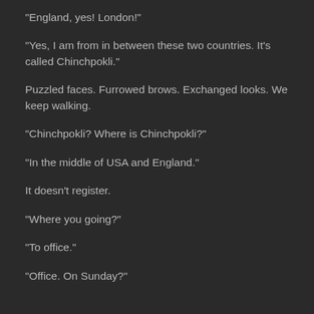"England, yes! London!"
"Yes, I am from in between these two countries. It's called Chinchpokli."
Puzzled faces. Furrowed brows. Exchanged looks. We keep walking.
"Chinchpokli? Where is Chinchpokli?"
"In the middle of USA and England."
It doesn't register.
"Where you going?"
"To office."
"Office. On Sunday?"